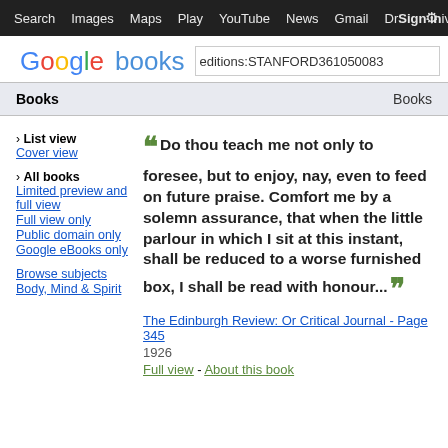Search  Images  Maps  Play  YouTube  News  Gmail  Drive  More  Sign in  [gear]
[Figure (logo): Google books logo with search box containing 'editions:STANFORD36105008...']
Books   Books
› List view
Cover view
› All books
Limited preview and full view
Full view only
Public domain only
Google eBooks only
Browse subjects
Body, Mind & Spirit
"Do thou teach me not only to foresee, but to enjoy, nay, even to feed on future praise. Comfort me by a solemn assurance, that when the little parlour in which I sit at this instant, shall be reduced to a worse furnished box, I shall be read with honour..."
The Edinburgh Review: Or Critical Journal - Page 345
1926
Full view - About this book